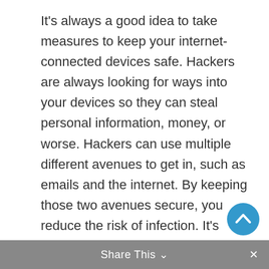It's always a good idea to take measures to keep your internet-connected devices safe. Hackers are always looking for ways into your devices so they can steal personal information, money, or worse. Hackers can use multiple different avenues to get in, such as emails and the internet. By keeping those two avenues secure, you reduce the risk of infection. It's everyone's job to keep their devices secure for you, your family, and your company.
Share This ∨  ×